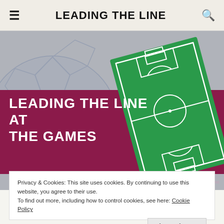LEADING THE LINE
[Figure (illustration): Hero banner with soccer/football field graphic on grey background with maroon strip. Text reads LEADING THE LINE AT THE GAMES in white bold uppercase. A green illustrated football pitch is shown rotated at an angle on the right side. A faded soccer ball is visible on the left background.]
LEADING THE LINE AT THE GAMES
Privacy & Cookies: This site uses cookies. By continuing to use this website, you agree to their use.
To find out more, including how to control cookies, see here: Cookie Policy
Close and accept